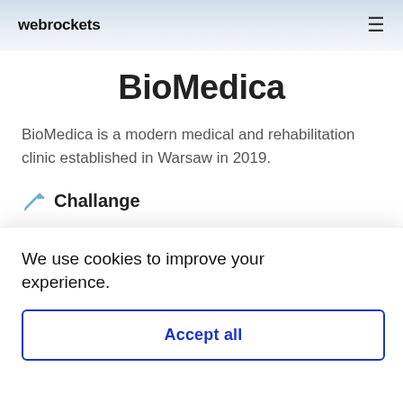webrockets
BioMedica
BioMedica is a modern medical and rehabilitation clinic established in Warsaw in 2019.
Challange
The clinic was struggling with acquiring new patients, even after repeatedly increasing an advertising budget. We declared we can bring more
improving not only its appearance but also its
We use cookies to improve your experience.